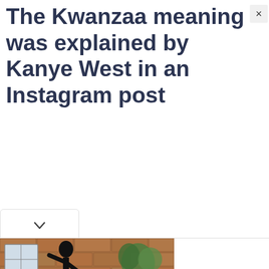The Kwanzaa meaning was explained by Kanye West in an Instagram post
[Figure (screenshot): A dropdown/collapse button (chevron down arrow) in a rounded rectangle]
[Figure (photo): Advertisement banner showing a person in athletic wear (seamless leggings, sports bra) against a brick wall background, with Open button and Tefin3 branding]